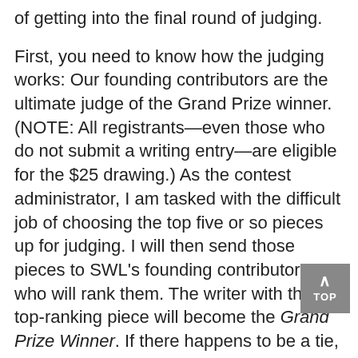of getting into the final round of judging.
First, you need to know how the judging works: Our founding contributors are the ultimate judge of the Grand Prize winner. (NOTE: All registrants—even those who do not submit a writing entry—are eligible for the $25 drawing.) As the contest administrator, I am tasked with the difficult job of choosing the top five or so pieces up for judging. I will then send those pieces to SWL's founding contributors, who will rank them. The writer with the top-ranking piece will become the Grand Prize Winner. If there happens to be a tie, I will cast my one and only vote to break it. Otherwise, I will not vote.
So, as you have already surmised, your first goal is to get your piece in the top five or so up for judging.
And since I hold the unwelcome honor of being the...